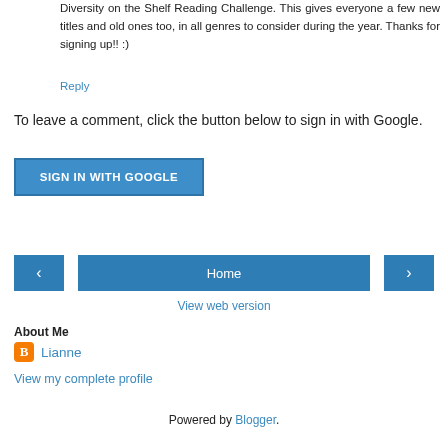Diversity on the Shelf Reading Challenge. This gives everyone a few new titles and old ones too, in all genres to consider during the year. Thanks for signing up!! :)
Reply
To leave a comment, click the button below to sign in with Google.
[Figure (other): SIGN IN WITH GOOGLE button, blue rectangle with white bold text]
[Figure (other): Navigation bar with left arrow button, Home button, and right arrow button, all in blue]
View web version
About Me
[Figure (logo): Blogger orange icon square with B letter]
Lianne
View my complete profile
Powered by Blogger.